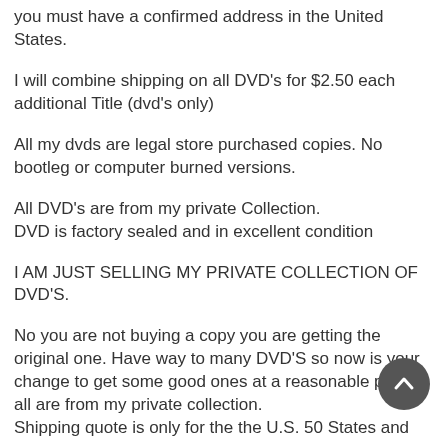you must have a confirmed address in the United States.
I will combine shipping on all DVD's for $2.50 each additional Title (dvd's only)
All my dvds are legal store purchased copies. No bootleg or computer burned versions.
All DVD's are from my private Collection.
DVD is factory sealed and in excellent condition
I AM JUST SELLING MY PRIVATE COLLECTION OF DVD'S.
No you are not buying a copy you are getting the original one. Have way to many DVD'S so now is your change to get some good ones at a reasonable price. all are from my private collection.
Shipping quote is only for the the U.S. 50 States and